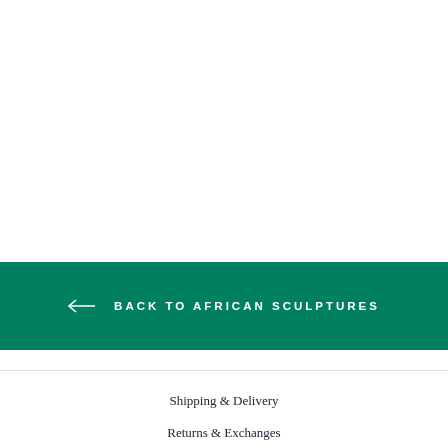← BACK TO AFRICAN SCULPTURES
Shipping & Delivery
Returns & Exchanges